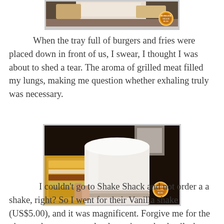[Figure (photo): Photo of a tray with burgers and fries, partially visible at top of page, with a circular logo watermark in bottom right corner]
When the tray full of burgers and fries were placed down in front of us, I swear, I thought I was about to shed a tear. The aroma of grilled meat filled my lungs, making me question whether exhaling truly was necessary.
[Figure (photo): Close-up photo of a white vanilla milkshake cup from Shake Shack on a dark background with a burger visible to the left, with a circular logo watermark in bottom right corner]
I couldn't go to Shake Shack and not order a a shake, right? So I went for their Vanilla shake (US$5.00), and it was magnificent. Forgive me for the picture above, as you clearly can't see the details, but the lighting at the